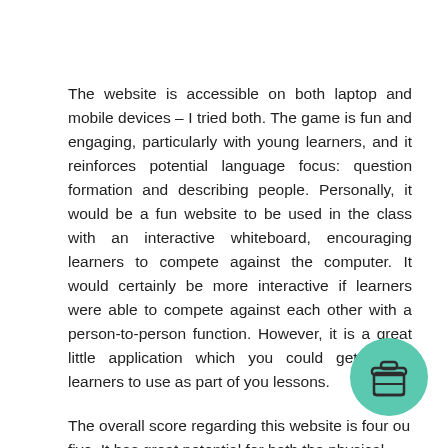The website is accessible on both laptop and mobile devices – I tried both. The game is fun and engaging, particularly with young learners, and it reinforces potential language focus: question formation and describing people. Personally, it would be a fun website to be used in the class with an interactive whiteboard, encouraging learners to compete against the computer. It would certainly be more interactive if learners were able to compete against each other with a person-to-person function. However, it is a great little application which you could get online learners to use as part of you lessons.
The overall score regarding this website is four ou five. It has great potential for both the physical and
[Figure (illustration): A circular teal/green badge with a coffee cup icon (takeaway cup with lid), positioned in the lower right corner of the page.]